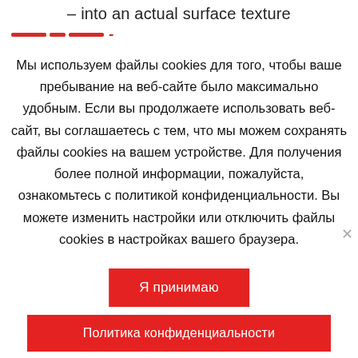– into an actual surface texture
Мы используем файлы cookies для того, чтобы ваше пребывание на веб-сайте было максимально удобным. Если вы продолжаете использовать веб-сайт, вы соглашаетесь с тем, что мы можем сохранять файлы cookies на вашем устройстве. Для получения более полной информации, пожалуйста, ознакомьтесь с политикой конфиденциальности. Вы можете изменить настройки или отключить файлы cookies в настройках вашего браузера.
Я принимаю
Политика конфиденциальности